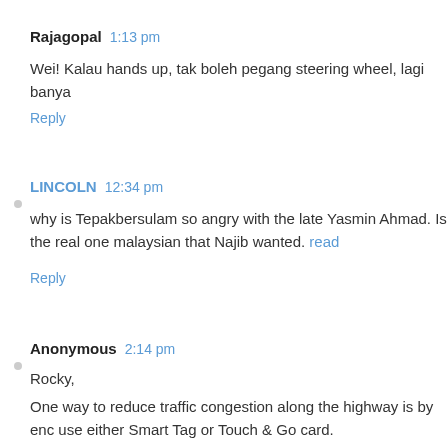Rajagopal  1:13 pm
Wei! Kalau hands up, tak boleh pegang steering wheel, lagi banya
Reply
LINCOLN  12:34 pm
why is Tepakbersulam so angry with the late Yasmin Ahmad. Is the real one malaysian that Najib wanted. read
Reply
Anonymous  2:14 pm
Rocky,
One way to reduce traffic congestion along the highway is by enc use either Smart Tag or Touch & Go card.
Last week, on way to Penang, I pulled-in at the Changkat Jering card.
It was told by the petrol station operator (not Petronas) that maximum at one time!! For that service, customer is charged RM.